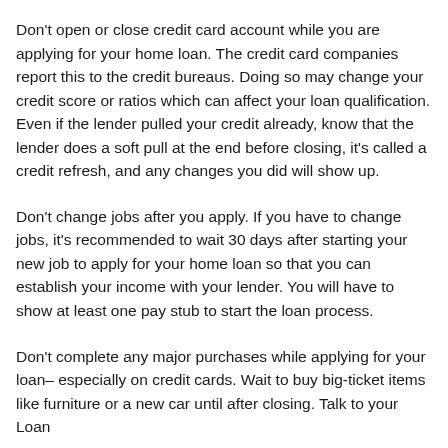Don't open or close credit card account while you are applying for your home loan. The credit card companies report this to the credit bureaus. Doing so may change your credit score or ratios which can affect your loan qualification. Even if the lender pulled your credit already, know that the lender does a soft pull at the end before closing, it's called a credit refresh, and any changes you did will show up.
Don't change jobs after you apply. If you have to change jobs, it's recommended to wait 30 days after starting your new job to apply for your home loan so that you can establish your income with your lender. You will have to show at least one pay stub to start the loan process.
Don't complete any major purchases while applying for your loan– especially on credit cards. Wait to buy big-ticket items like furniture or a new car until after closing. Talk to your Loan